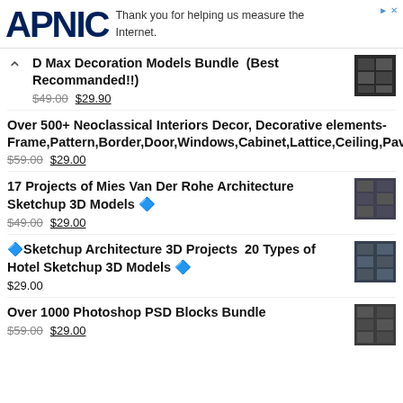APNIC — Thank you for helping us measure the Internet.
D Max Decoration Models Bundle (Best Recommanded!!) $49.00 $29.90
Over 500+ Neoclassical Interiors Decor, Decorative elements-Frame,Pattern,Border,Door,Windows,Cabinet,Lattice,Ceiling,Paving $59.00 $29.00
17 Projects of Mies Van Der Rohe Architecture Sketchup 3D Models $49.00 $29.00
🔷Sketchup Architecture 3D Projects 20 Types of Hotel Sketchup 3D Models $29.00
Over 1000 Photoshop PSD Blocks Bundle $59.00 $29.00